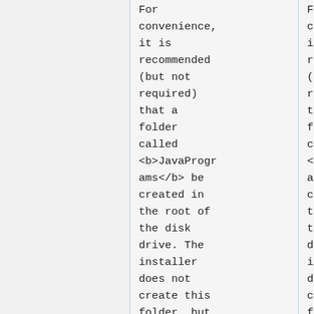For convenience, it is recommended (but not required) that a folder called <b>JavaPrograms</b> be created in the root of the disk drive. The installer does not create this folder, but if it is present, the installer
For convenience, it is recommended (but not required) that a folder called <b>JavaPrograms</b> be created in the root of the disk drive. The installer does not create this folder, but if it is present, the installer